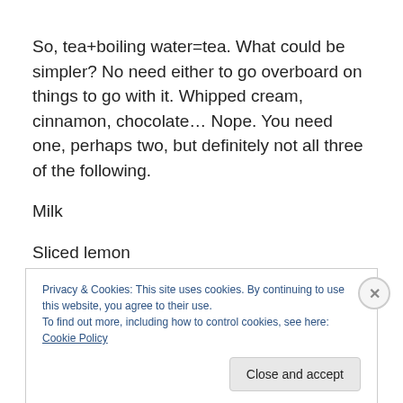So, tea+boiling water=tea. What could be simpler? No need either to go overboard on things to go with it. Whipped cream, cinnamon, chocolate… Nope. You need one, perhaps two, but definitely not all three of the following.
Milk
Sliced lemon
Privacy & Cookies: This site uses cookies. By continuing to use this website, you agree to their use.
To find out more, including how to control cookies, see here: Cookie Policy
Close and accept